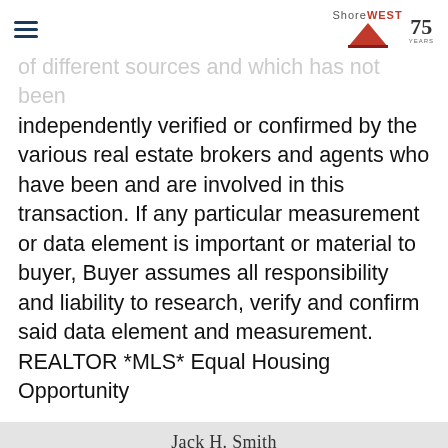ShoreWEST 75 YEARS
of different sources and which has not been independently verified or confirmed by the various real estate brokers and agents who have been and are involved in this transaction. If any particular measurement or data element is important or material to buyer, Buyer assumes all responsibility and liability to research, verify and confirm said data element and measurement. REALTOR *MLS* Equal Housing Opportunity
Jack H. Smith
[Figure (photo): Portrait photo of Jack H. Smith, a man with auburn/brown hair, appearing middle-aged, in a professional setting]